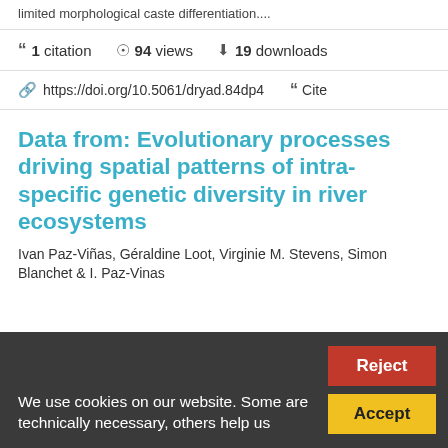limited morphological caste differentiation....
1 citation   94 views   19 downloads
https://doi.org/10.5061/dryad.84dp4   Cite
Data from: Evolutionary processes driving spatial patterns of intra-specific genetic diversity in river ecosystems
Ivan Paz-Viñas, Géraldine Loot, Virginie M. Stevens, Simon Blanchet & I. Paz-Vinas
We use cookies on our website. Some are technically necessary, others help us...